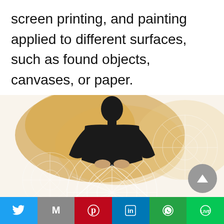screen printing, and painting applied to different surfaces, such as found objects, canvases, or paper.
[Figure (illustration): Artwork illustration showing a person leaning over what appears to be lace or decorative fabric work, rendered in black ink with amber/gold watercolor wash background and white decorative mandala-like patterns.]
Social sharing bar: Twitter, Gmail, Pinterest, LinkedIn, WhatsApp, LINE